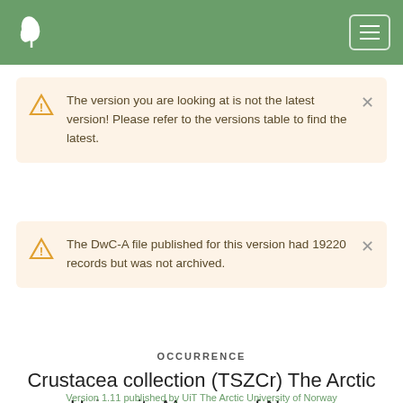[Figure (screenshot): Green navigation header bar with a white leaf/plant logo on the left and a hamburger menu button on the right]
The version you are looking at is not the latest version! Please refer to the versions table to find the latest.
The DwC-A file published for this version had 19220 records but was not archived.
OCCURRENCE
Crustacea collection (TSZCr) The Arctic University Museum of Norway
Version 1.11 published by UiT The Arctic University of Norway